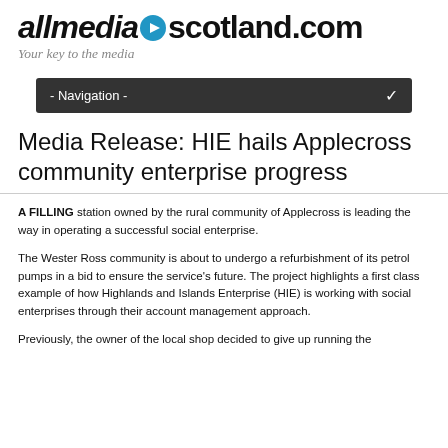allmediascotland.com — Your key to the media
Media Release: HIE hails Applecross community enterprise progress
A FILLING station owned by the rural community of Applecross is leading the way in operating a successful social enterprise.
The Wester Ross community is about to undergo a refurbishment of its petrol pumps in a bid to ensure the service's future. The project highlights a first class example of how Highlands and Islands Enterprise (HIE) is working with social enterprises through their account management approach.
Previously, the owner of the local shop decided to give up running the